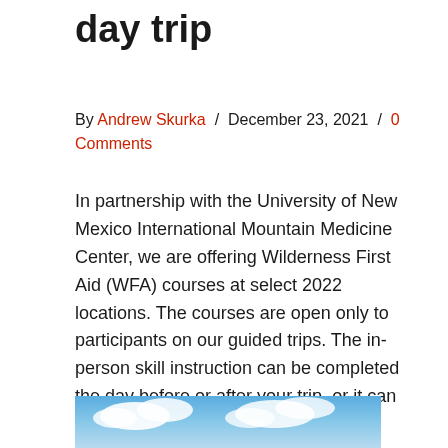day trip
By Andrew Skurka / December 23, 2021 / 0 Comments
In partnership with the University of New Mexico International Mountain Medicine Center, we are offering Wilderness First Aid (WFA) courses at select 2022 locations. The courses are open only to participants on our guided trips. The in-person skill instruction can be completed the day before or after your trip, or it can be integrated into...
[Figure (photo): Sky with clouds, partial view at bottom of page]